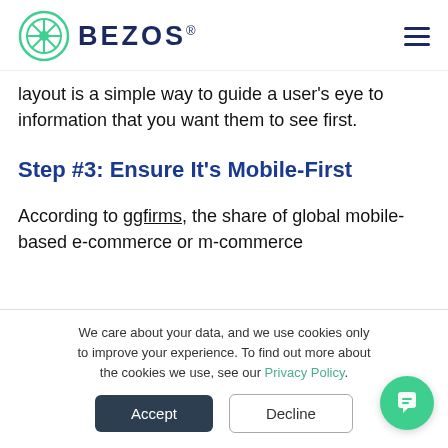BEZOS®
layout is a simple way to guide a user's eye to information that you want them to see first.
Step #3: Ensure It's Mobile-First
According to ggfirms, the share of global mobile-based e-commerce or m-commerce
We care about your data, and we use cookies only to improve your experience. To find out more about the cookies we use, see our Privacy Policy.